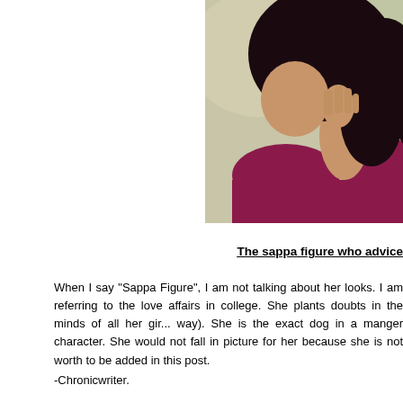[Figure (photo): A woman in a magenta/maroon top with dark hair, photographed from behind/side, hand near face, soft bokeh background.]
The sappa figure who advice
When I say "Sappa Figure", I am not talking about her looks. I am referring to the love affairs in college. She plants doubts in the minds of all her gir... way). She is the exact dog in a manger character. She would not fall in picture for her because she is not worth to be added in this post.
-Chronicwriter.